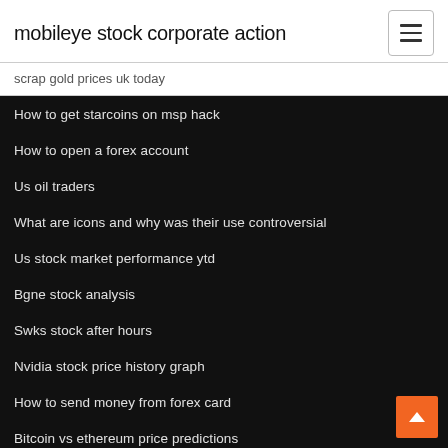mobileye stock corporate action
scrap gold prices uk today
How to get starcoins on msp hack
How to open a forex account
Us oil traders
What are icons and why was their use controversial
Us stock market performance ytd
Bgne stock analysis
Swks stock after hours
Nvidia stock price history graph
How to send money from forex card
Bitcoin vs ethereum price predictions